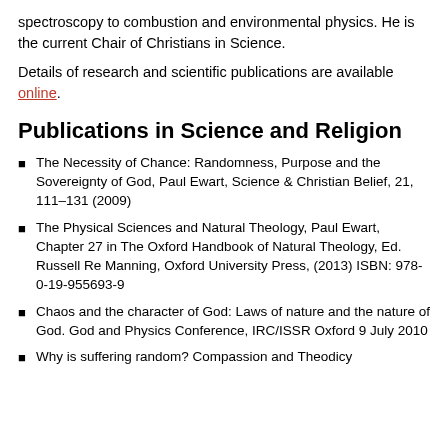spectroscopy to combustion and environmental physics. He is the current Chair of Christians in Science.
Details of research and scientific publications are available online.
Publications in Science and Religion
The Necessity of Chance: Randomness, Purpose and the Sovereignty of God, Paul Ewart, Science & Christian Belief, 21, 111–131 (2009)
The Physical Sciences and Natural Theology, Paul Ewart, Chapter 27 in The Oxford Handbook of Natural Theology, Ed. Russell Re Manning, Oxford University Press, (2013) ISBN: 978-0-19-955693-9
Chaos and the character of God: Laws of nature and the nature of God. God and Physics Conference, IRC/ISSR Oxford 9 July 2010
Why is suffering random? Compassion and Theodicy Conference, IRC Oxford 20 July 2010